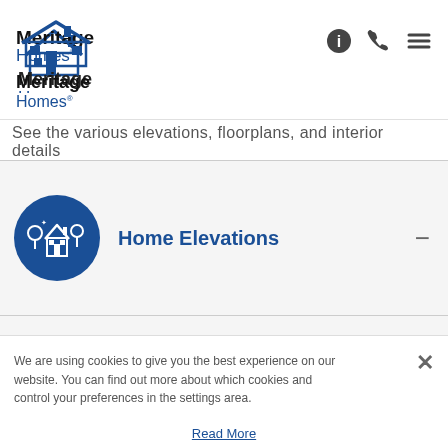[Figure (logo): Meritage Homes logo with house roof illustration in blue and black text]
See the various elevations, floorplans, and interior details
Home Elevations
We are using cookies to give you the best experience on our website. You can find out more about which cookies and control your preferences in the settings area.
Read More